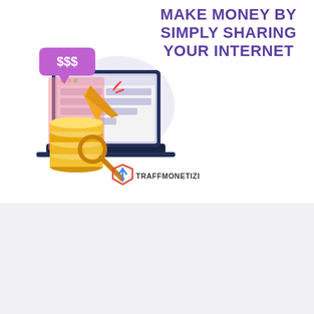MAKE MONEY BY SIMPLY SHARING YOUR INTERNET
[Figure (illustration): Illustration of a laptop with a browser window showing content blocks, a golden cursor arrow clicking on it, a speech bubble showing '$$$', gold coins stacked in front of the laptop, and the TraffMonetizer logo with text at bottom right.]
Thank you for visiting. You can now buy me a coffee!